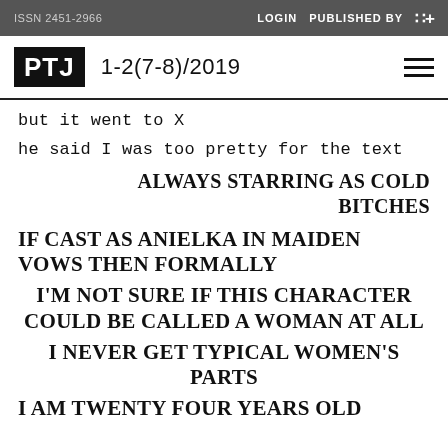ISSN 2451-2966   LOGIN  PUBLISHED BY
PTJ  1-2(7-8)/2019
but it went to X
he said I was too pretty for the text
ALWAYS STARRING AS COLD BITCHES
IF CAST AS ANIELKA IN MAIDEN VOWS THEN FORMALLY
I'M NOT SURE IF THIS CHARACTER COULD BE CALLED A WOMAN AT ALL
I NEVER GET TYPICAL WOMEN'S PARTS
I AM TWENTY FOUR YEARS OLD